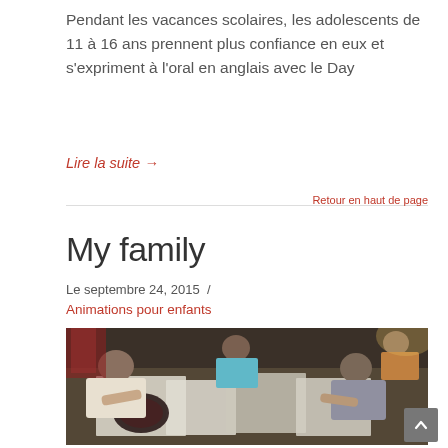Pendant les vacances scolaires, les adolescents de 11 à 16 ans prennent plus confiance en eux et s'expriment à l'oral en anglais avec le Day
Lire la suite →
Retour en haut de page
My family
Le septembre 24, 2015  /
Animations pour enfants
[Figure (photo): Children sitting around a table doing arts and crafts activities, viewed from above in a warm indoor setting]